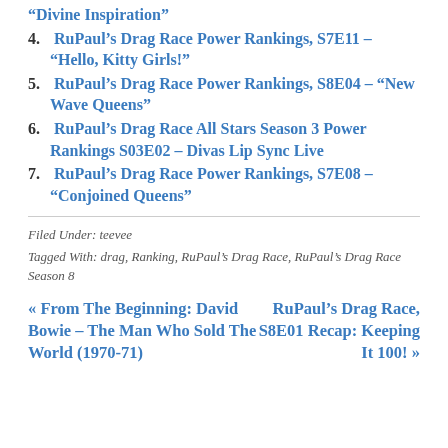“Divine Inspiration”
4. RuPaul’s Drag Race Power Rankings, S7E11 – “Hello, Kitty Girls!”
5. RuPaul’s Drag Race Power Rankings, S8E04 – “New Wave Queens”
6. RuPaul’s Drag Race All Stars Season 3 Power Rankings S03E02 – Divas Lip Sync Live
7. RuPaul’s Drag Race Power Rankings, S7E08 – “Conjoined Queens”
Filed Under: teevee
Tagged With: drag, Ranking, RuPaul’s Drag Race, RuPaul’s Drag Race Season 8
« From The Beginning: David Bowie – The Man Who Sold The World (1970-71)
RuPaul’s Drag Race, S8E01 Recap: Keeping It 100! »